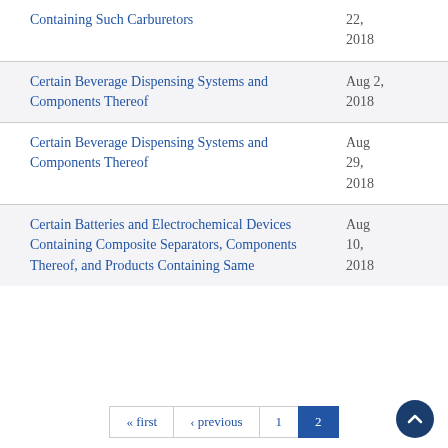Containing Such Carburetors — 22, 2018
Certain Beverage Dispensing Systems and Components Thereof — Aug 2, 2018
Certain Beverage Dispensing Systems and Components Thereof — Aug 29, 2018
Certain Batteries and Electrochemical Devices Containing Composite Separators, Components Thereof, and Products Containing Same — Aug 10, 2018
« first ‹ previous 1 2